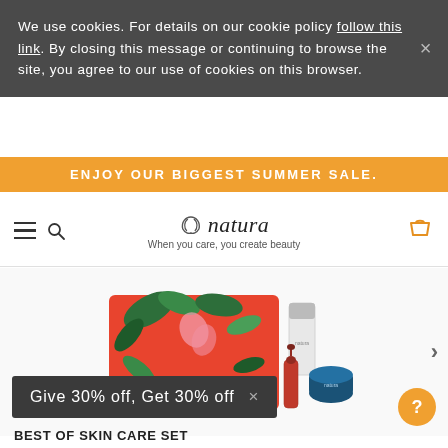We use cookies. For details on our cookie policy follow this link. By closing this message or continuing to browse the site, you agree to our use of cookies on this browser.
ENJOY OUR BIGGEST SUMMER SALE.
natura — When you care, you create beauty
[Figure (photo): Natura skincare gift set with tropical floral box and skincare products including serum, cream jar, and cleanser]
Give 30% off, Get 30% off ×
BEST OF SKIN CARE SET